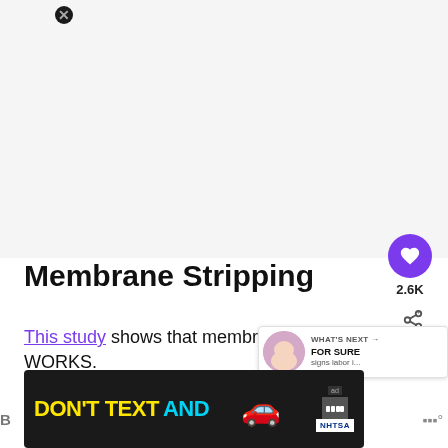[Figure (photo): Large white/light gray image area at top of page, content not visible]
Membrane Stripping
This study shows that membrane sweeping WORKS.
[Figure (infographic): What's Next overlay with baby thumbnail image, text: WHAT'S NEXT → FOR SURE signs labor i...]
[Figure (infographic): DON'T TEXT AND [car emoji] advertisement banner with NHTSA branding]